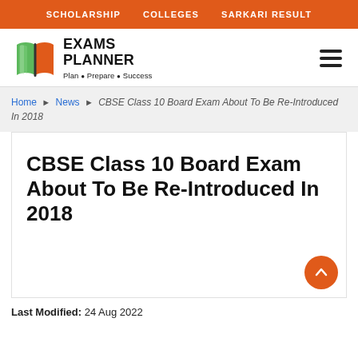SCHOLARSHIP   COLLEGES   SARKARI RESULT
[Figure (logo): Exams Planner logo with open book icon in green and orange, text 'EXAMS PLANNER' and tagline 'Plan • Prepare • Success']
Home ▶ News ▶ CBSE Class 10 Board Exam About To Be Re-Introduced In 2018
CBSE Class 10 Board Exam About To Be Re-Introduced In 2018
Last Modified: 24 Aug 2022